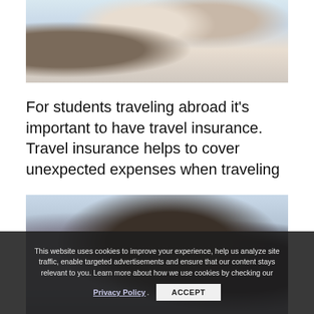[Figure (photo): A couple smiling and meeting with an advisor, seated at a table in a bright room.]
For students traveling abroad it's important to have travel insurance. Travel insurance helps to cover unexpected expenses when traveling
[Figure (photo): A man and a woman partially visible, appearing to be in a group or meeting setting.]
This website uses cookies to improve your experience, help us analyze site traffic, enable targeted advertisements and ensure that our content stays relevant to you. Learn more about how we use cookies by checking our Privacy Policy. ACCEPT